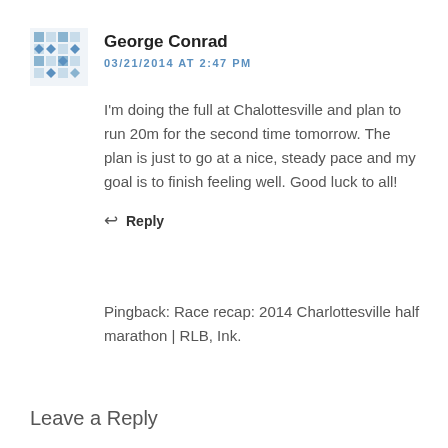[Figure (illustration): Geometric avatar/identicon with blue diamond and square pattern on white background]
George Conrad
03/21/2014 AT 2:47 PM
I'm doing the full at Chalottesville and plan to run 20m for the second time tomorrow. The plan is just to go at a nice, steady pace and my goal is to finish feeling well. Good luck to all!
↩ Reply
Pingback: Race recap: 2014 Charlottesville half marathon | RLB, Ink.
Leave a Reply